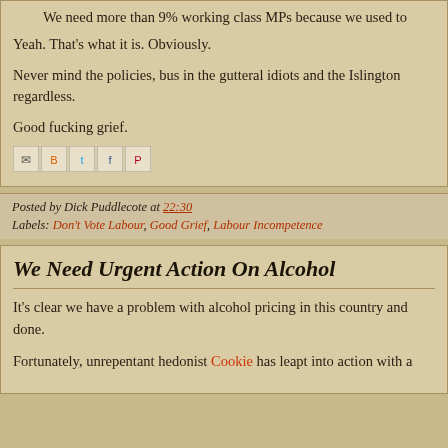We need more than 9% working class MPs because we used to
Yeah. That's what it is. Obviously.
Never mind the policies, bus in the gutteral idiots and the Islington regardless.
Good fucking grief.
[Figure (other): Social share buttons: Email, BlogThis, Twitter, Facebook, Pinterest]
Posted by Dick Puddlecote at 22:30
Labels: Don't Vote Labour, Good Grief, Labour Incompetence
We Need Urgent Action On Alcohol
It's clear we have a problem with alcohol pricing in this country and done.
Fortunately, unrepentant hedonist Cookie has leapt into action with a